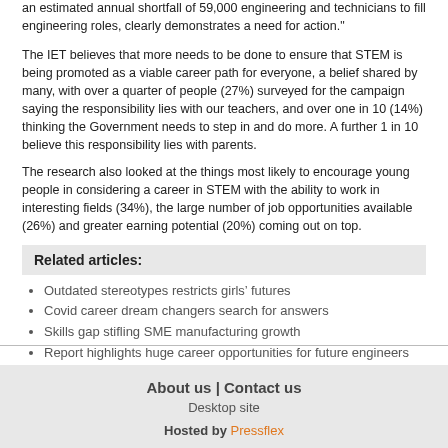an estimated annual shortfall of 59,000 engineering and technicians to fill engineering roles, clearly demonstrates a need for action."
The IET believes that more needs to be done to ensure that STEM is being promoted as a viable career path for everyone, a belief shared by many, with over a quarter of people (27%) surveyed for the campaign saying the responsibility lies with our teachers, and over one in 10 (14%) thinking the Government needs to step in and do more. A further 1 in 10 believe this responsibility lies with parents.
The research also looked at the things most likely to encourage young people in considering a career in STEM with the ability to work in interesting fields (34%), the large number of job opportunities available (26%) and greater earning potential (20%) coming out on top.
Related articles:
Outdated stereotypes restricts girls’ futures
Covid career dream changers search for answers
Skills gap stifling SME manufacturing growth
Report highlights huge career opportunities for future engineers
Getting the right balance
About us | Contact us
Desktop site
Hosted by Pressflex